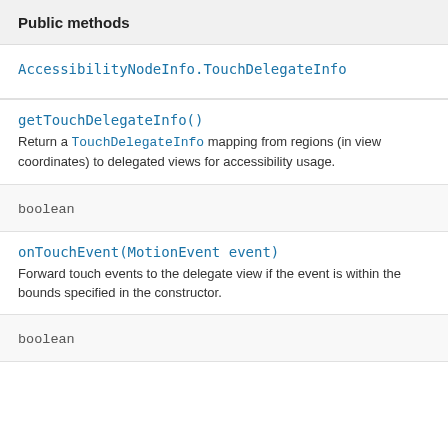Public methods
AccessibilityNodeInfo.TouchDelegateInfo
getTouchDelegateInfo()
Return a TouchDelegateInfo mapping from regions (in view coordinates) to delegated views for accessibility usage.
boolean
onTouchEvent(MotionEvent event)
Forward touch events to the delegate view if the event is within the bounds specified in the constructor.
boolean